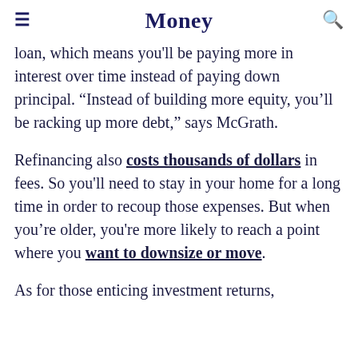Money
loan, which means you'll be paying more in interest over time instead of paying down principal. “Instead of building more equity, you’ll be racking up more debt,” says McGrath.
Refinancing also costs thousands of dollars in fees. So you'll need to stay in your home for a long time in order to recoup those expenses. But when you’re older, you're more likely to reach a point where you want to downsize or move.
As for those enticing investment returns,